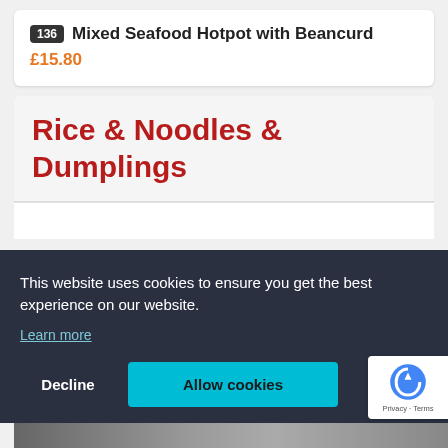136 Mixed Seafood Hotpot with Beancurd
£15.80
Rice & Noodles & Dumplings
This website uses cookies to ensure you get the best experience on our website. Learn more
Decline
Allow cookies
Privacy · Terms